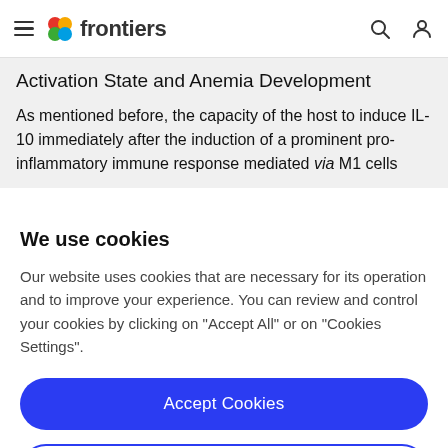frontiers
Activation State and Anemia Development
As mentioned before, the capacity of the host to induce IL-10 immediately after the induction of a prominent pro-inflammatory immune response mediated via M1 cells
We use cookies
Our website uses cookies that are necessary for its operation and to improve your experience. You can review and control your cookies by clicking on "Accept All" or on "Cookies Settings".
Accept Cookies
Cookies Settings